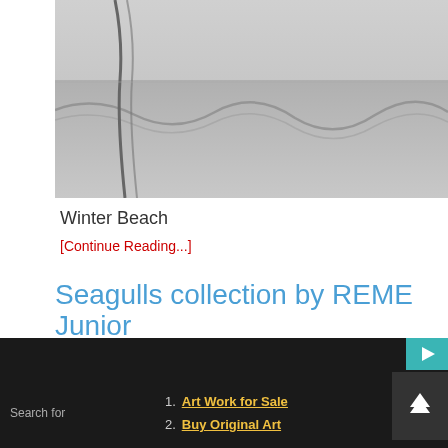[Figure (photo): Black and white photo of a winter beach with wave patterns on sand]
Winter Beach
[Continue Reading...]
Seagulls collection by REME Junior
Radoslav Marinov   June 19, 2017
[Figure (photo): Seagulls in flight, black and white photo]
Search for
1. Art Work for Sale
2. Buy Original Art